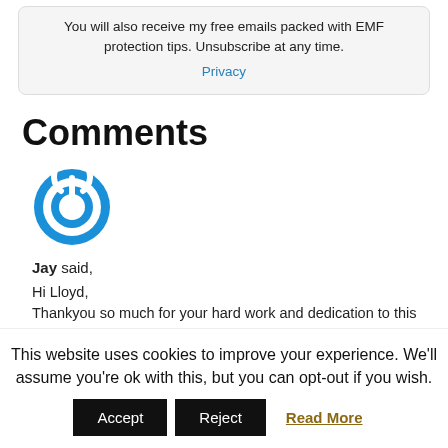You will also receive my free emails packed with EMF protection tips. Unsubscribe at any time.
Privacy
Comments
[Figure (logo): Blue circular power button icon]
Jay said,
Hi Lloyd,
Thankyou so much for your hard work and dedication to this
This website uses cookies to improve your experience. We'll assume you're ok with this, but you can opt-out if you wish.
Accept   Reject   Read More